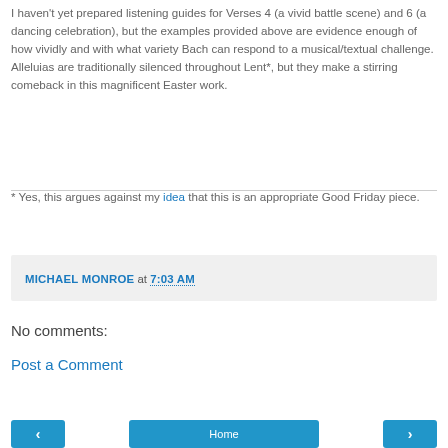I haven't yet prepared listening guides for Verses 4 (a vivid battle scene) and 6 (a dancing celebration), but the examples provided above are evidence enough of how vividly and with what variety Bach can respond to a musical/textual challenge. Alleluias are traditionally silenced throughout Lent*, but they make a stirring comeback in this magnificent Easter work.
* Yes, this argues against my idea that this is an appropriate Good Friday piece.
MICHAEL MONROE at 7:03 AM
No comments:
Post a Comment